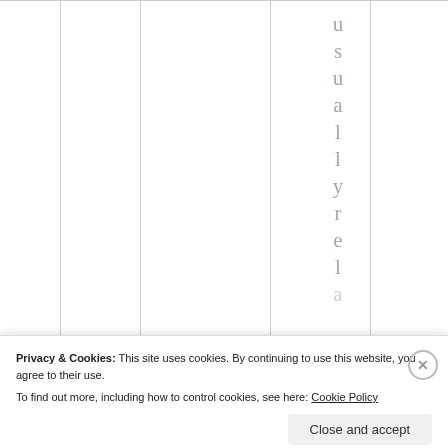[Figure (screenshot): Table grid with vertical and horizontal lines forming columns, with vertical rotated text spelling 'usually rel...' visible in one column, shown in grey color.]
Privacy & Cookies: This site uses cookies. By continuing to use this website, you agree to their use.
To find out more, including how to control cookies, see here: Cookie Policy
Close and accept
HIBRITCH.AG